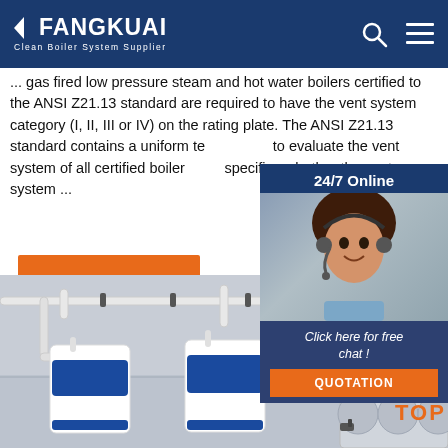FANGKUAI Clean Boiler System Supplier
... gas fired low pressure steam and hot water boilers certified to the ANSI Z21.13 standard are required to have the vent system category (I, II, III or IV) on the rating plate. The ANSI Z21.13 standard contains a uniform test method to evaluate the vent system of all certified boilers and specifies whether the vent system ...
Get Price
[Figure (photo): Customer service representative with headset, 24/7 Online widget with Click here for free chat and QUOTATION button]
[Figure (photo): Industrial boiler equipment and water storage tank system]